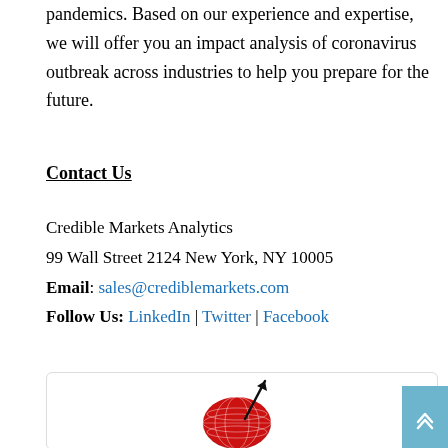pandemics. Based on our experience and expertise, we will offer you an impact analysis of coronavirus outbreak across industries to help you prepare for the future.
Contact Us
Credible Markets Analytics
99 Wall Street 2124 New York, NY 10005
Email: sales@crediblemarkets.com
Follow Us: LinkedIn | Twitter | Facebook
[Figure (logo): Credible Markets Analytics logo — a red globe with a black upward arrow]